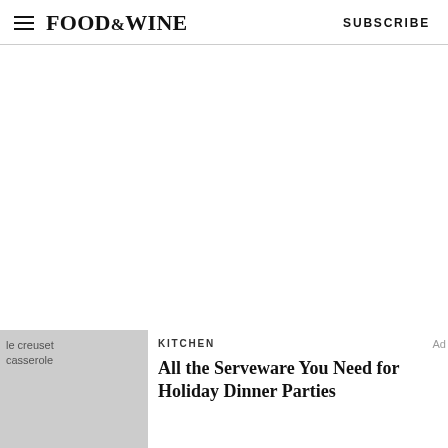FOOD&WINE   SUBSCRIBE
[Figure (other): Large white/blank advertisement area]
[Figure (photo): le creuset casserole image (gray placeholder)]
KITCHEN
All the Serveware You Need for Holiday Dinner Parties